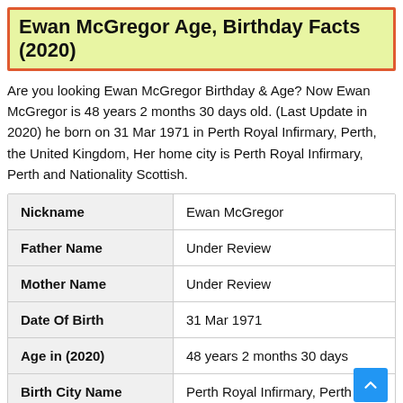Ewan McGregor Age, Birthday Facts (2020)
Are you looking Ewan McGregor Birthday & Age? Now Ewan McGregor is 48 years 2 months 30 days old. (Last Update in 2020) he born on 31 Mar 1971 in Perth Royal Infirmary, Perth, the United Kingdom, Her home city is Perth Royal Infirmary, Perth and Nationality Scottish.
|  |  |
| --- | --- |
| Nickname | Ewan McGregor |
| Father Name | Under Review |
| Mother Name | Under Review |
| Date Of Birth | 31 Mar 1971 |
| Age in (2020) | 48 years 2 months 30 days |
| Birth City Name | Perth Royal Infirmary, Perth |
| Birth Country | United Kingdom |